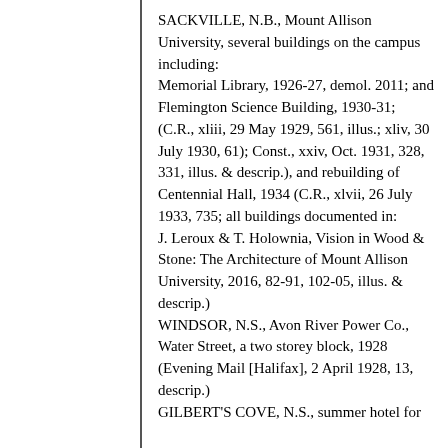SACKVILLE, N.B., Mount Allison University, several buildings on the campus including:
Memorial Library, 1926-27, demol. 2011; and
Flemington Science Building, 1930-31;
(C.R., xliii, 29 May 1929, 561, illus.; xliv, 30 July 1930, 61); Const., xxiv, Oct. 1931, 328, 331, illus. & descrip.), and rebuilding of Centennial Hall, 1934 (C.R., xlvii, 26 July 1933, 735; all buildings documented in:
J. Leroux & T. Holownia, Vision in Wood & Stone: The Architecture of Mount Allison University, 2016, 82-91, 102-05, illus. & descrip.)
WINDSOR, N.S., Avon River Power Co., Water Street, a two storey block, 1928 (Evening Mail [Halifax], 2 April 1928, 13, descrip.)
GILBERT'S COVE, N.S., summer hotel for